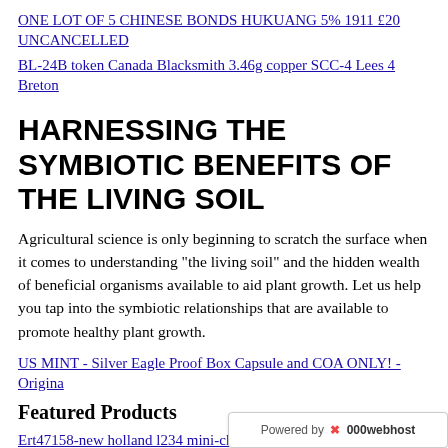ONE LOT OF 5 CHINESE BONDS HUKUANG 5% 1911 £20 UNCANCELLED
BL-24B token Canada Blacksmith 3.46g copper SCC-4 Lees 4 Breton
HARNESSING THE SYMBIOTIC BENEFITS OF THE LIVING SOIL
Agricultural science is only beginning to scratch the surface when it comes to understanding "the living soil" and the hidden wealth of beneficial organisms available to aid plant growth. Let us help you tap into the symbiotic relationships that are available to promote healthy plant growth.
US MINT - Silver Eagle Proof Box Capsule and COA ONLY! - Origina
Featured Products
Ert47158-new holland l234 mini-chargeuse
AN INFORMED AGR...